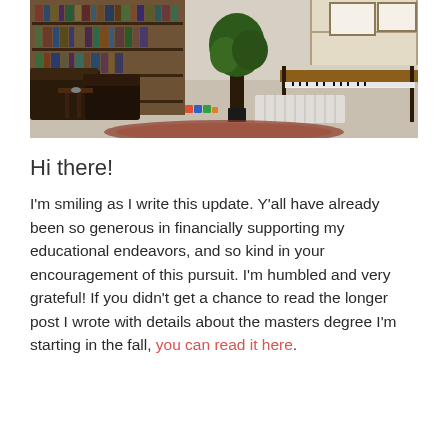[Figure (photo): Interior photo of a cozy room with bookshelves filled with books, leather chairs, a potted plant, an area rug, and a piano/keyboard on a wooden stand near a window with natural light.]
Hi there!
I'm smiling as I write this update. Y'all have already been so generous in financially supporting my educational endeavors, and so kind in your encouragement of this pursuit. I'm humbled and very grateful! If you didn't get a chance to read the longer post I wrote with details about the masters degree I'm starting in the fall, you can read it here.